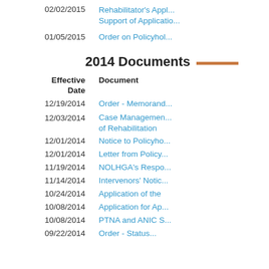| Effective Date | Document |
| --- | --- |
| 02/02/2015 | Rehabilitator's Appl... Support of Applicatio... |
| 01/05/2015 | Order on Policyhol... |
2014 Documents
| Effective Date | Document |
| --- | --- |
| 12/19/2014 | Order - Memorand... |
| 12/03/2014 | Case Management... of Rehabilitation |
| 12/01/2014 | Notice to Policyho... |
| 12/01/2014 | Letter from Policy... |
| 11/19/2014 | NOLHGA's Respo... |
| 11/14/2014 | Intervenors' Notic... |
| 10/24/2014 | Application of the |
| 10/08/2014 | Application for Ap... |
| 10/08/2014 | PTNA and ANIC S... |
| 09/22/2014 | Order - Status... |